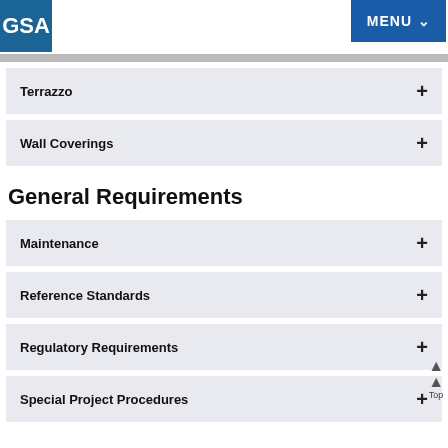GSA | MENU
Terrazzo +
Wall Coverings +
General Requirements
Maintenance +
Reference Standards +
Regulatory Requirements +
Special Project Procedures +